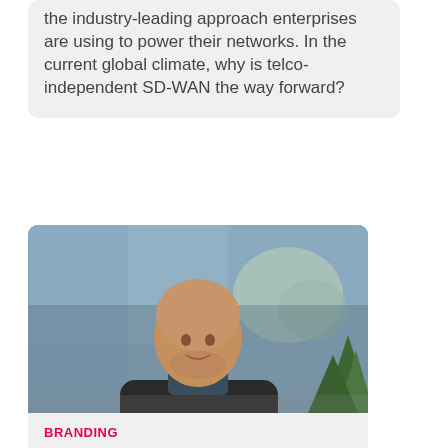the industry-leading approach enterprises are using to power their networks. In the current global climate, why is telco-independent SD-WAN the way forward?
[Figure (photo): Photo of a middle-aged bald man in a dark sweater standing in a modern office with large windows and architectural dome visible in background, with a plant in the foreground]
BRANDING
How brands can use offline data to drive better decision-making
It's no secret brands are at the